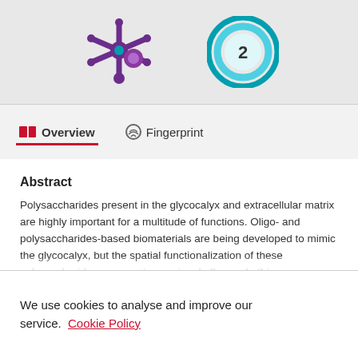[Figure (illustration): Top grey banner with two icons: a purple/blue stylized snowflake/asterisk icon on the left and a circular blue swirl badge with number 2 on the right]
Overview    Fingerprint
Abstract
Polysaccharides present in the glycocalyx and extracellular matrix are highly important for a multitude of functions. Oligo- and polysaccharides-based biomaterials are being developed to mimic the glycocalyx, but the spatial functionalization of these polysaccharides represents a major challenge. In this paper, a series of benzene-1,3,5-tricarboxamide (BTA) based supramolecular monomers is designed and synthesized with
We use cookies to analyse and improve our service. Cookie Policy